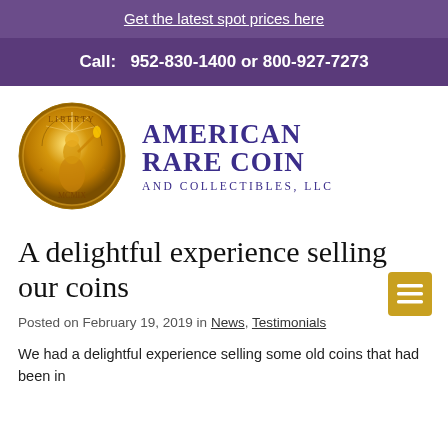Get the latest spot prices here
Call: 952-830-1400 or 800-927-7273
[Figure (logo): American Rare Coin and Collectibles LLC logo with gold coin and text]
A delightful experience selling our coins
Posted on February 19, 2019 in News, Testimonials
We had a delightful experience selling some old coins that had been in